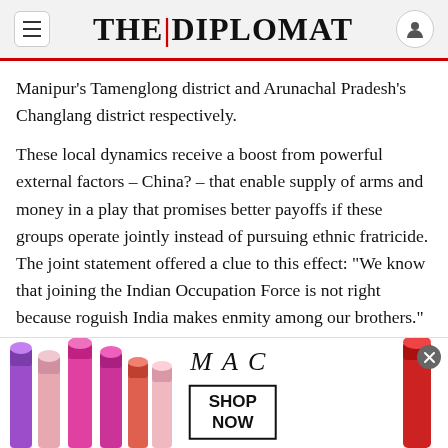THE DIPLOMAT
Manipur's Tamenglong district and Arunachal Pradesh's Changlang district respectively.
These local dynamics receive a boost from powerful external factors – China? – that enable supply of arms and money in a play that promises better payoffs if these groups operate jointly instead of pursuing ethnic fratricide. The joint statement offered a clue to this effect: “We know that joining the Indian Occupation Force is not right because roguish India makes enmity among our brothers.” None of this, however, offers definitive evidence of Beijing’s hand in the Northeast, India’s not-so-
[Figure (photo): MAC Cosmetics advertisement showing colorful lipsticks on the left and right, MAC logo in the center with a SHOP NOW button]